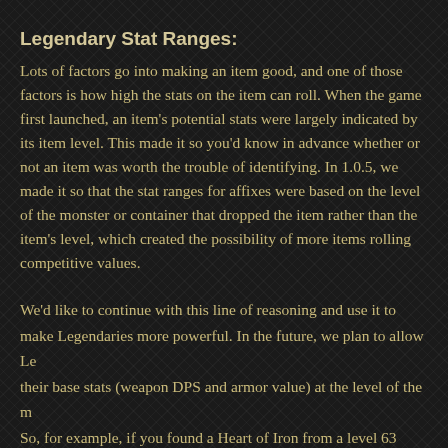Legendary Stat Ranges:
Lots of factors go into making an item good, and one of those factors is how high the stats on the item can roll. When the game first launched, an item's potential stats were largely indicated by its item level. This made it so you'd know in advance whether or not an item was worth the trouble of identifying. In 1.0.5, we made it so that the stat ranges for affixes were based on the level of the monster or container that dropped the item rather than the item's level, which created the possibility of more items rolling competitive values.
We'd like to continue with this line of reasoning and use it to make Legendaries more powerful. In the future, we plan to allow Le their base stats (weapon DPS and armor value) at the level of the m So, for example, if you found a Heart of Iron from a level 63 monste increased to that of Archon Armor and its stat ranges would roll at le